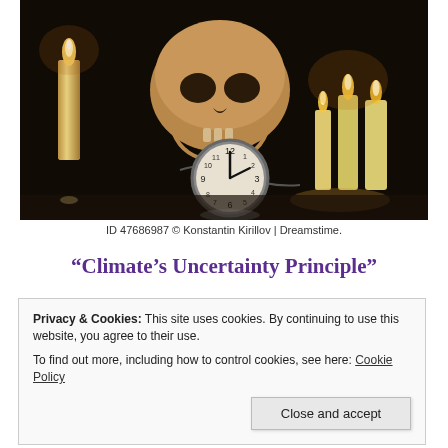[Figure (photo): Dark moody photograph showing a human skull, a pocket watch on a chain showing nearly midnight, and several lit white candles on a reflective black surface against a dark background.]
ID 47686987 © Konstantin Kirillov | Dreamstime.
“Climate’s Uncertainty Principle”
Privacy & Cookies: This site uses cookies. By continuing to use this website, you agree to their use.
To find out more, including how to control cookies, see here: Cookie Policy
Close and accept